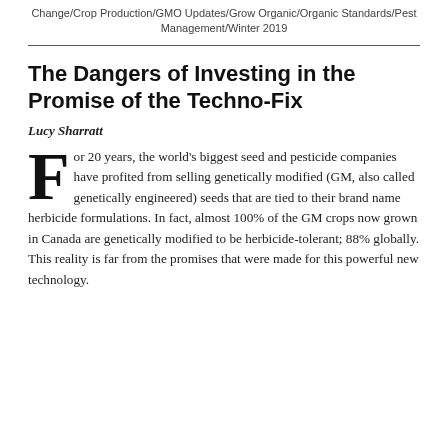Change/Crop Production/GMO Updates/Grow Organic/Organic Standards/Pest Management/Winter 2019
The Dangers of Investing in the Promise of the Techno-Fix
Lucy Sharratt
For 20 years, the world's biggest seed and pesticide companies have profited from selling genetically modified (GM, also called genetically engineered) seeds that are tied to their brand name herbicide formulations. In fact, almost 100% of the GM crops now grown in Canada are genetically modified to be herbicide-tolerant; 88% globally. This reality is far from the promises that were made for this powerful new technology.